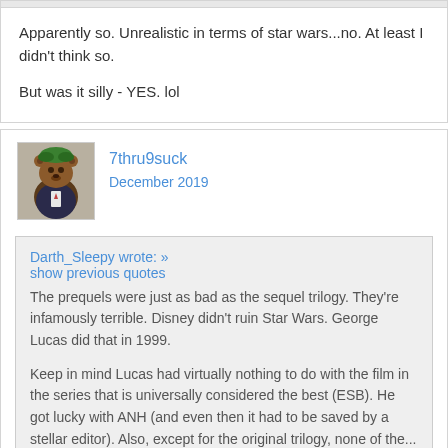Apparently so. Unrealistic in terms of star wars...no. At least I didn't think so.

But was it silly - YES. lol
7thru9suck
December 2019
Darth_Sleepy wrote: »
show previous quotes
The prequels were just as bad as the sequel trilogy. They're infamously terrible. Disney didn't ruin Star Wars. George Lucas did that in 1999.

Keep in mind Lucas had virtually nothing to do with the film in the series that is universally considered the best (ESB). He got lucky with ANH (and even then it had to be saved by a stellar editor). Also, except for the original trilogy, none of the...